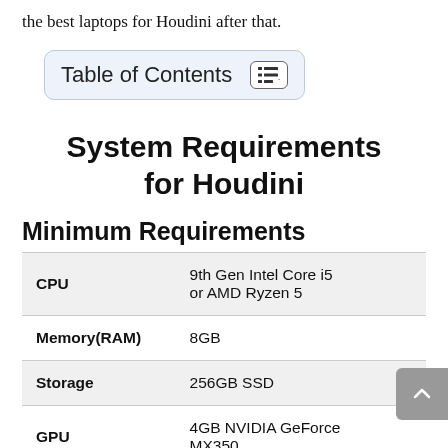the best laptops for Houdini after that.
Table of Contents
System Requirements for Houdini
Minimum Requirements
|  |  |
| --- | --- |
| CPU | 9th Gen Intel Core i5 or AMD Ryzen 5 |
| Memory(RAM) | 8GB |
| Storage | 256GB SSD |
| GPU | 4GB NVIDIA GeForce MX350 |